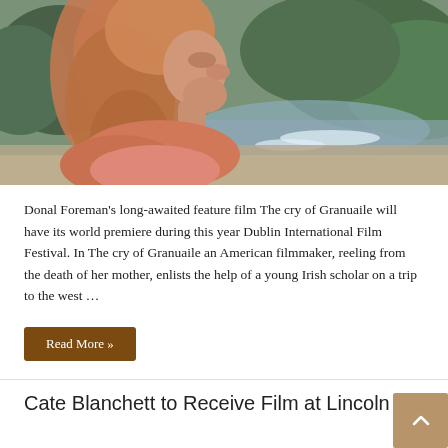[Figure (photo): A woman with long reddish-blonde hair in profile view, standing near a beach with rocky coastal cliffs and green hills in the background. The scene appears to be set along the western Irish coast.]
Donal Foreman's long-awaited feature film The cry of Granuaile will have its world premiere during this year Dublin International Film Festival. In The cry of Granuaile an American filmmaker, reeling from the death of her mother, enlists the help of a young Irish scholar on a trip to the west …
Read More »
Cate Blanchett to Receive Film at Lincoln